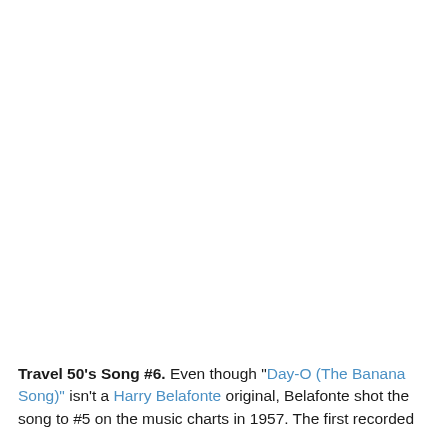Travel 50's Song #6. Even though "Day-O (The Banana Song)" isn't a Harry Belafonte original, Belafonte shot the song to #5 on the music charts in 1957. The first recorded